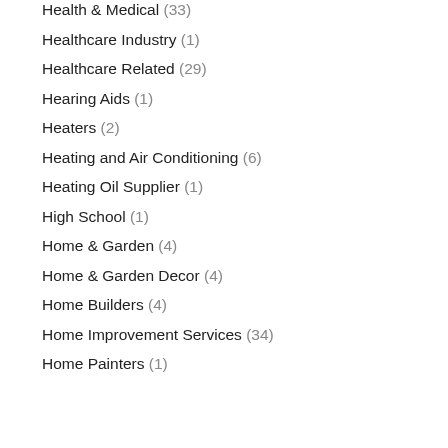Health & Medical (33)
Healthcare Industry (1)
Healthcare Related (29)
Hearing Aids (1)
Heaters (2)
Heating and Air Conditioning (6)
Heating Oil Supplier (1)
High School (1)
Home & Garden (4)
Home & Garden Decor (4)
Home Builders (4)
Home Improvement Services (34)
Home Painters (1)